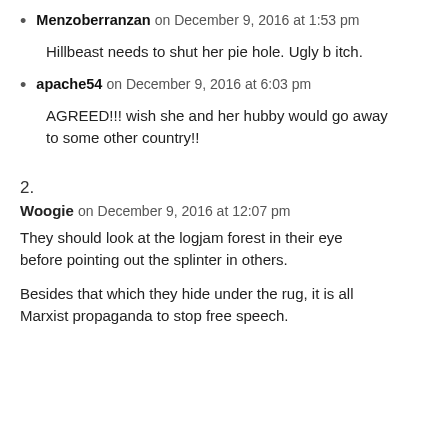Menzoberranzan on December 9, 2016 at 1:53 pm
Hillbeast needs to shut her pie hole. Ugly b itch.
apache54 on December 9, 2016 at 6:03 pm
AGREED!!! wish she and her hubby would go away to some other country!!
2.
Woogie on December 9, 2016 at 12:07 pm
They should look at the logjam forest in their eye before pointing out the splinter in others.
Besides that which they hide under the rug, it is all Marxist propaganda to stop free speech.